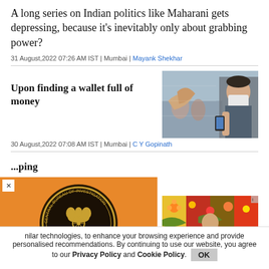A long series on Indian politics like Maharani gets depressing, because it's inevitably only about grabbing power?
31 August,2022 07:26 AM IST | Mumbai | Mayank Shekhar
Upon finding a wallet full of money
30 August,2022 07:08 AM IST | Mumbai | C Y Gopinath
[Figure (photo): Person wearing mask looking at phone in public space]
[Figure (photo): CBI (Central Bureau of Investigation) India seal/emblem on orange background popup]
[Figure (photo): Colorful festival decoration with flowers]
...nilar technologies, to enhance your browsing experience and provide personalised recommendations. By continuing to use our website, you agree to our Privacy Policy and Cookie Policy.